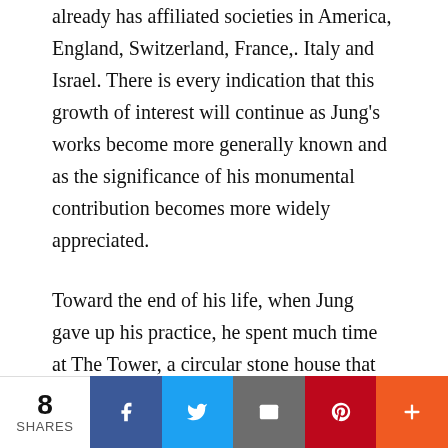already has affiliated societies in America, England, Switzerland, France,. Italy and Israel. There is every indication that this growth of interest will continue as Jung's works become more generally known and as the significance of his monumental contribution becomes more widely appreciated.
Toward the end of his life, when Jung gave up his practice, he spent much time at The Tower, a circular stone house that he built on the lake of Zurich, near the village of Bollingen. At The Tower, Jung read, meditated, sculptured, sailed and practiced an extraordinary culinary skill. Writing was some thing of a chore for him (though his output was tremendous—his collected works, published by Princeton, will run to 20—
8 SHARES